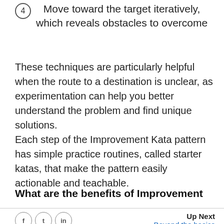4  Move toward the target iteratively, which reveals obstacles to overcome
These techniques are particularly helpful when the route to a destination is unclear, as experimentation can help you better understand the problem and find unique solutions.
Each step of the Improvement Kata pattern has simple practice routines, called starter katas, that make the pattern easily actionable and teachable.
What are the benefits of Improvement
Up Next  Beyond the basics